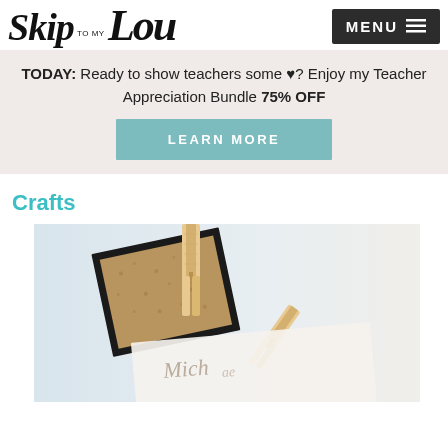Skip to my Lou — MENU
TODAY: Ready to show teachers some ♥? Enjoy my Teacher Appreciation Bundle 75% OFF
LEARN MORE
Crafts
[Figure (photo): Photo of a corkboard with a clothespin clip and a card with cursive writing, partial view]